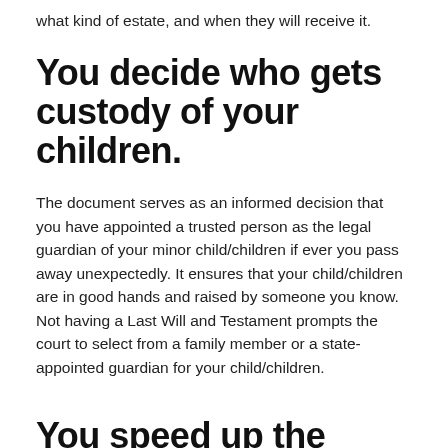what kind of estate, and when they will receive it.
You decide who gets custody of your children.
The document serves as an informed decision that you have appointed a trusted person as the legal guardian of your minor child/children if ever you pass away unexpectedly. It ensures that your child/children are in good hands and raised by someone you know. Not having a Last Will and Testament prompts the court to select from a family member or a state-appointed guardian for your child/children.
You speed up the probate